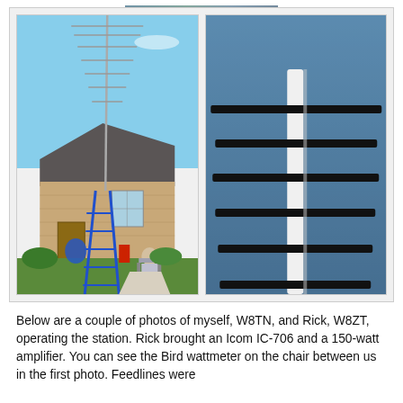[Figure (photo): Two outdoor photos side by side. Left photo: a tall antenna mast erected next to a single-story brick house, with a blue step ladder at its base and a person sitting nearby. Right photo: close-up looking up at a Yagi antenna against a blue sky, showing the boom and multiple horizontal elements.]
Below are a couple of photos of myself, W8TN, and Rick, W8ZT, operating the station. Rick brought an Icom IC-706 and a 150-watt amplifier. You can see the Bird wattmeter on the chair between us in the first photo. Feedlines were